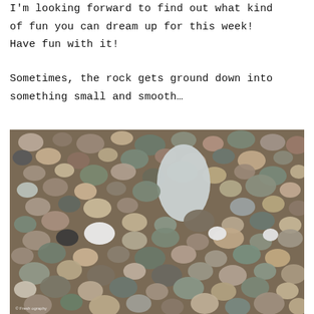I'm looking forward to find out what kind of fun you can dream up for this week! Have fun with it!
Sometimes, the rock gets ground down into something small and smooth…
[Figure (photo): Close-up photograph of many small smooth river pebbles and stones of various colors — grey, brown, tan, white, black — tightly packed together. A watermark at the bottom left reads '© Fresh... Photography'.]